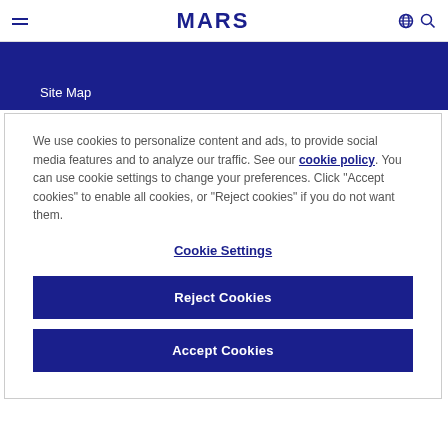MARS
Site Map
We use cookies to personalize content and ads, to provide social media features and to analyze our traffic. See our cookie policy. You can use cookie settings to change your preferences. Click "Accept cookies" to enable all cookies, or "Reject cookies" if you do not want them.
Cookie Settings
Reject Cookies
Accept Cookies